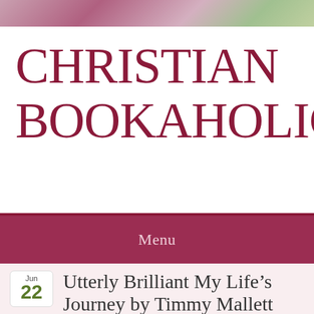[Figure (photo): Floral/nature photo banner at the top of the page, showing pink roses and green foliage]
CHRISTIAN BOOKAHOLIC
Menu
Jun 22
Utterly Brilliant My Life's Journey by Timmy Mallett
You Me